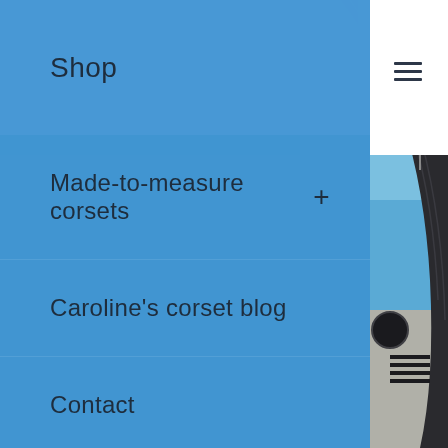[Figure (photo): Background photo of a modern architectural building with curved dark metal facade and a white tiled wall, photographed outdoors under blue sky]
Shop
Made-to-measure corsets
Caroline's corset blog
Contact
Testimonials